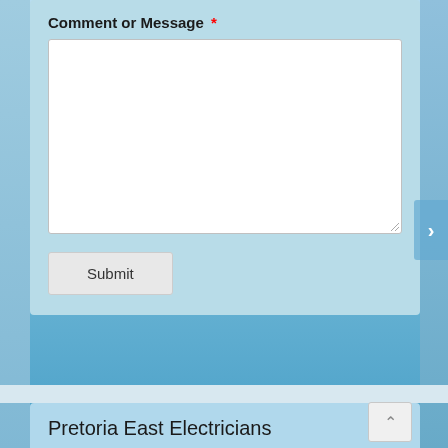Comment or Message *
[Figure (screenshot): Empty white textarea input field for entering a comment or message]
Submit
Pretoria East Electricians